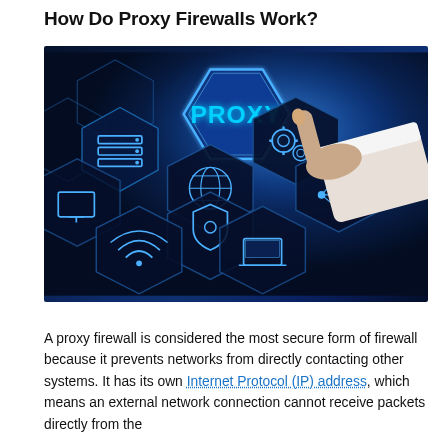How Do Proxy Firewalls Work?
[Figure (photo): A dark blue digital background with glowing hexagonal tiles containing network/technology icons (monitor, server stack, globe, settings gears, shield, WiFi, laptop, connected nodes) and a hand pointing at a glowing hexagon labeled 'PROXY' in bright blue text.]
A proxy firewall is considered the most secure form of firewall because it prevents networks from directly contacting other systems. It has its own Internet Protocol (IP) address, which means an external network connection cannot receive packets directly from the